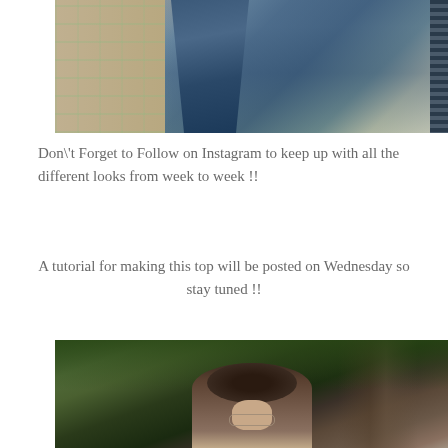[Figure (photo): Partial view of clothing items hanging or displayed, showing denim fabric and patterned textiles, cropped at top]
Don\'t Forget to Follow on Instagram to keep up with all the different looks from week to week !!
A tutorial for making this top will be posted on Wednesday so stay tuned !!
[Figure (photo): Woman with curly hair and glasses standing outdoors in front of a large tree in a wooded setting, photo cropped at bottom]